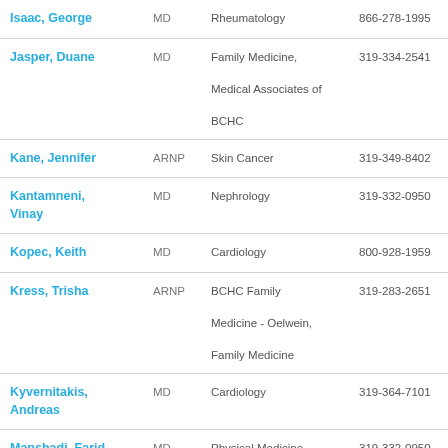| Name | Credential | Specialty | Phone |
| --- | --- | --- | --- |
| Isaac, George | MD | Rheumatology | 866-278-1995 |
| Jasper, Duane | MD | Family Medicine, Medical Associates of BCHC | 319-334-2541 |
| Kane, Jennifer | ARNP | Skin Cancer | 319-349-8402 |
| Kantamneni, Vinay | MD | Nephrology | 319-332-0950 |
| Kopec, Keith | MD | Cardiology | 800-928-1959 |
| Kress, Trisha | ARNP | BCHC Family Medicine - Oelwein, Family Medicine | 319-283-2651 |
| Kyvernitakis, Andreas | MD | Cardiology | 319-364-7101 |
| Manshadi, Farid | MD | Physical Medicine | 319-332-0950 |